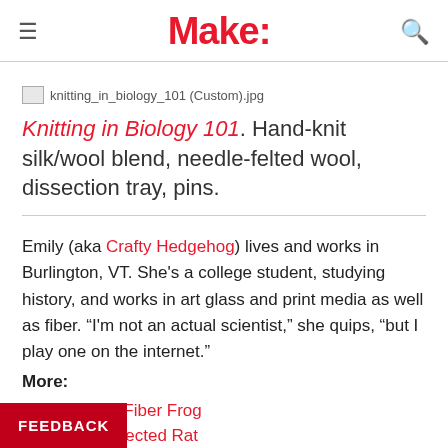Make:
[Figure (photo): Broken/missing image placeholder labeled knitting_in_biology_101 (Custom).jpg]
Knitting in Biology 101. Hand-knit silk/wool blend, needle-felted wool, dissection tray, pins.
Emily (aka Crafty Hedgehog) lives and works in Burlington, VT. She's a college student, studying history, and works in art glass and print media as well as fiber. “I'm not an actual scientist,” she quips, “but I play one on the internet.”
More:
Dissected Fiber Frog
Knit a Dissected Rat